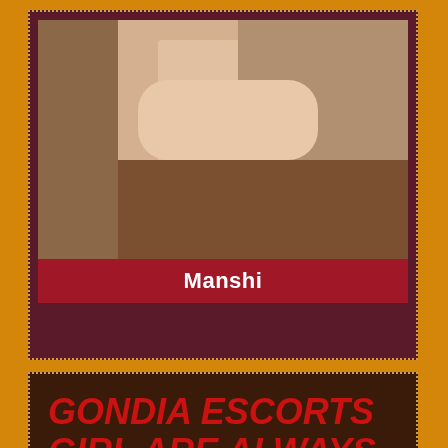[Figure (photo): Cropped photo of a person, partially visible, with wooden floor background]
Manshi
GONDIA ESCORTS GIRL ARE ALWAYS REACH ON-TIME TO OFFER ESCORT SERVICE
Escorts in Gondia square measure ace in every